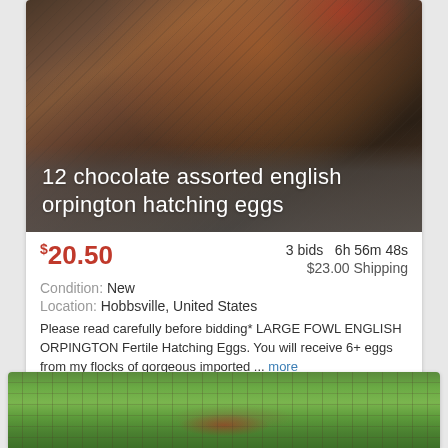[Figure (photo): Photo of a rooster/chicken in a dirt pen with wire fence visible, with white text overlay reading '12 chocolate assorted english orpington hatching eggs']
12 chocolate assorted english orpington hatching eggs
$20.50   3 bids  6h 56m 48s   $23.00 Shipping
Condition: New
Location: Hobbsville, United States
Please read carefully before bidding* LARGE FOWL ENGLISH ORPINGTON Fertile Hatching Eggs. You will receive 6+ eggs from my flocks of gorgeous imported ... more
[Figure (photo): Partial photo of another chicken/rooster on green grass with wire fence visible, cropped at bottom of page]